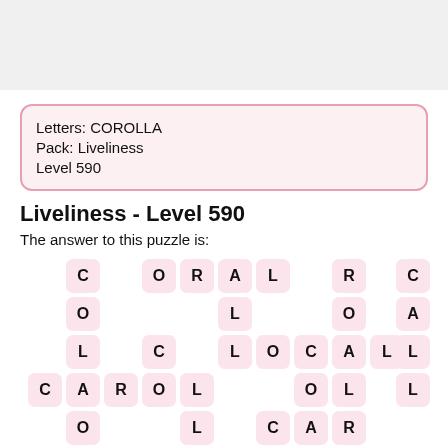[Figure (other): Gray top banner area]
Letters: COROLLA
Pack: Liveliness
Level 590
Liveliness - Level 590
The answer to this puzzle is:
[Figure (infographic): Word puzzle tiles showing letters arranged in a crossword-like pattern: C, O, R, A, L, R, C, O, L, O, A, L, C, L, O, C, A, L, L, C, A, R, O, L, O, L, L, O, L, C, A, R, A, L, C, A, R]